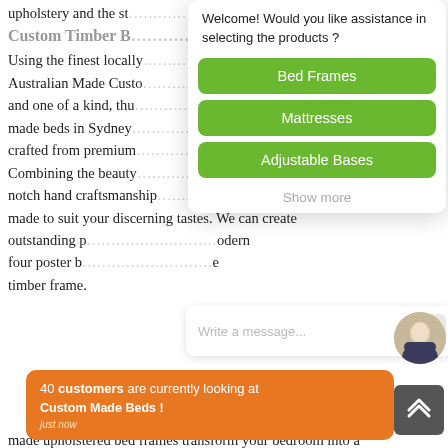upholstery and the st... d.
Custom Timber B...
Using the finest locally... Australian Made Custo... ure and one of a kind, thu... om-made beds in Sydney... ely crafted from premium...
Combining the beauty... top-notch hand craftsmanship... are made to suit your discerning tastes. We can create outstanding p... modern four poster b... e timber frame.
[Figure (screenshot): Chat widget overlay showing a welcome message asking if the user would like assistance in selecting products, with three green buttons: Bed Frames, Mattresses, Adjustable Bases, and a Show more link. Below is a message input bar with placeholder text 'Write a message...' and a send button.]
40 customers are currently looking at Custom Made Beds ! just now
made upholstered bed frames transform your bedroom into a